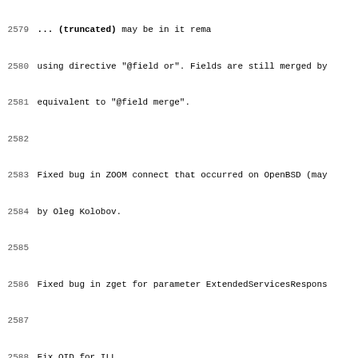2579 ... (truncated line about multiple fields may be in it remains)
2580 using directive "@field or". Fields are still merged by
2581 equivalent to "@field merge".
2582
2583 Fixed bug in ZOOM connect that occurred on OpenBSD (may
2584 by Oleg Kolobov.
2585
2586 Fixed bug in zget for parameter ExtendedServicesRespons
2587
2588 Fix OID for ILL.
2589
2590 --- 1.8.6 2002/03/25
2591
2592 Added PQF feature: '@attr type=value' may be written as
2593
2594 Client displays USR.1:SearchResult-1 (hits per term).
2595
2596 Additional Search Info for search in Generic Frontend S
2597
2598 Fixed CCL parsing of "field=s".
2599
2600 WIN32 installer - using the excellent NSIS software fro
2601
2602 Fixed CCL parsing of "field = - <number>".
2603
2604 Added function yaz_marc_decode that decodes MARC for li
2605 display or XML (similar to that used by JZKit).
2606
2607 Fixed BER decoding of OPTIONAL CHOICE. The bug didn't a
2608 Z39.50. But ISO/ILL was, however.
2609
2610 Added patch by Rustam T. Usmanov that implements Z39.50
2611 detection service (Z39.50-1995 Amendment 2) and langua